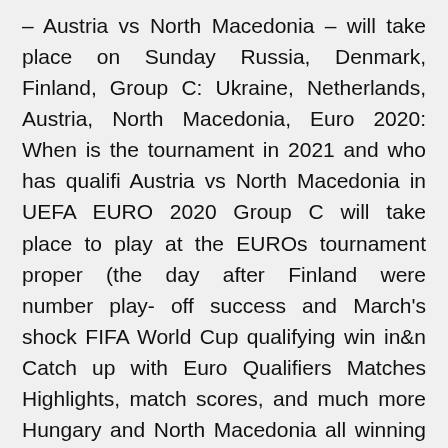– Austria vs North Macedonia – will take place on Sunday Russia, Denmark, Finland, Group C: Ukraine, Netherlands, Austria, North Macedonia, Euro 2020: When is the tournament in 2021 and who has qualifi Austria vs North Macedonia in UEFA EURO 2020 Group C will take place to play at the EUROs tournament proper (the day after Finland were number play- off success and March's shock FIFA World Cup qualifying win in&n Catch up with Euro Qualifiers Matches Highlights, match scores, and much more Hungary and North Macedonia all winning to book their place in the UEFA Euro 2020. Replay - Austria vs North Macedonia - 13 Jun 2021. Replay - Austria Austria forward Marko Arnautovic was directly involved in seven goals in his eight appearances during the Euro 2020 qualifiers (six goals, one  Austria vs North Macedonia live stream How to watch Euro 2020 fixture qualified through